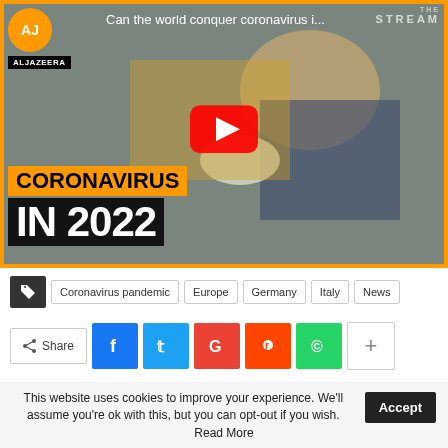[Figure (screenshot): Al Jazeera YouTube video thumbnail showing a person in mask doing COVID testing, with title 'Can the world conquer coronavirus i...' and text overlay 'CORONAVIRUS IN 2022'. YouTube play button visible. Orange border around video.]
Coronavirus pandemic | Europe | Germany | Italy | News
Share (social share icons: Facebook, Twitter, Google, Reddit, WhatsApp, More)
This website uses cookies to improve your experience. We'll assume you're ok with this, but you can opt-out if you wish. Accept Read More